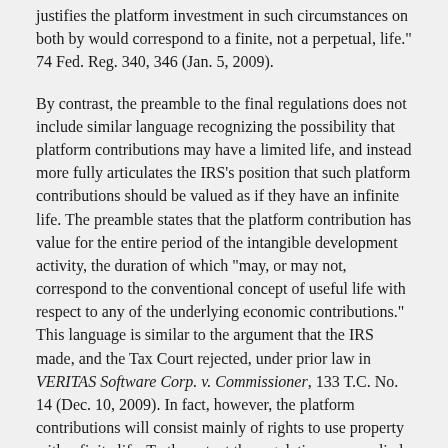justifies the platform investment in such circumstances on both by would correspond to a finite, not a perpetual, life." 74 Fed. Reg. 340, 346 (Jan. 5, 2009).
By contrast, the preamble to the final regulations does not include similar language recognizing the possibility that platform contributions may have a limited life, and instead more fully articulates the IRS's position that such platform contributions should be valued as if they have an infinite life. The preamble states that the platform contribution has value for the entire period of the intangible development activity, the duration of which "may, or may not, correspond to the conventional concept of useful life with respect to any of the underlying economic contributions." This language is similar to the argument that the IRS made, and the Tax Court rejected, under prior law in VERITAS Software Corp. v. Commissioner, 133 T.C. No. 14 (Dec. 10, 2009). In fact, however, the platform contributions will consist mainly of rights to use property with a finite life. To the extent the regulations are applied in a manner that deem transactions that have not occurred to in fact occur, rather than merely using foregone profits as a reference point in pricing actual transactions, Courts may question the results advocated by the IRS.